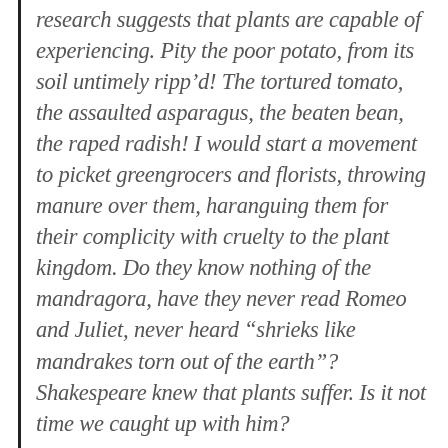research suggests that plants are capable of experiencing. Pity the poor potato, from its soil untimely ripp'd! The tortured tomato, the assaulted asparagus, the beaten bean, the raped radish! I would start a movement to picket greengrocers and florists, throwing manure over them, haranguing them for their complicity with cruelty to the plant kingdom. Do they know nothing of the mandragora, have they never read Romeo and Juliet, never heard “shrieks like mandrakes torn out of the earth”? Shakespeare knew that plants suffer. Is it not time we caught up with him?